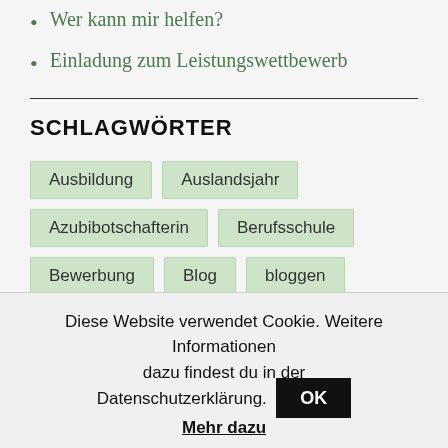Wer kann mir helfen?
Einladung zum Leistungswettbewerb
SCHLAGWÖRTER
Ausbildung
Auslandsjahr
Azubibotschafterin
Berufsschule
Bewerbung
Blog
bloggen
Diese Website verwendet Cookie. Weitere Informationen dazu findest du in der Datenschutzerklärung.
OK
Mehr dazu